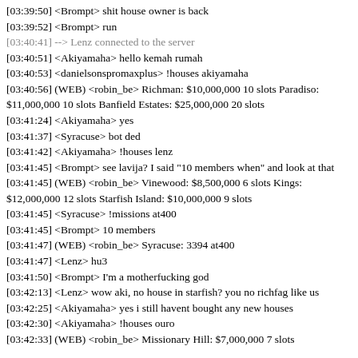[03:39:50] <Brompt> shit house owner is back
[03:39:52] <Brompt> run
[03:40:41] --> Lenz connected to the server
[03:40:51] <Akiyamaha> hello kemah rumah
[03:40:53] <danielsonspromaxplus> !houses akiyamaha
[03:40:56] (WEB) <robin_be> Richman: $10,000,000 10 slots Paradiso: $11,000,000 10 slots Banfield Estates: $25,000,000 20 slots
[03:41:24] <Akiyamaha> yes
[03:41:37] <Syracuse> bot ded
[03:41:42] <Akiyamaha> !houses lenz
[03:41:45] <Brompt> see lavija? I said "10 members when" and look at that
[03:41:45] (WEB) <robin_be> Vinewood: $8,500,000 6 slots Kings: $12,000,000 12 slots Starfish Island: $10,000,000 9 slots
[03:41:45] <Syracuse> !missions at400
[03:41:45] <Brompt> 10 members
[03:41:47] (WEB) <robin_be> Syracuse: 3394 at400
[03:41:47] <Lenz> hu3
[03:41:50] <Brompt> I'm a motherfucking god
[03:42:13] <Lenz> wow aki, no house in starfish? you no richfag like us
[03:42:25] <Akiyamaha> yes i still havent bought any new houses
[03:42:30] <Akiyamaha> !houses ouro
[03:42:33] (WEB) <robin_be> Missionary Hill: $7,000,000 7 slots